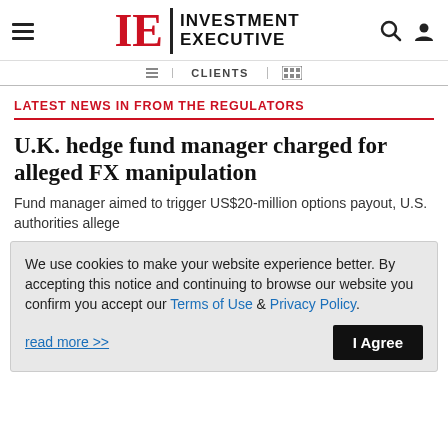Investment Executive
CLIENTS
LATEST NEWS IN FROM THE REGULATORS
U.K. hedge fund manager charged for alleged FX manipulation
Fund manager aimed to trigger US$20-million options payout, U.S. authorities allege
We use cookies to make your website experience better. By accepting this notice and continuing to browse our website you confirm you accept our Terms of Use & Privacy Policy. read more >> I Agree